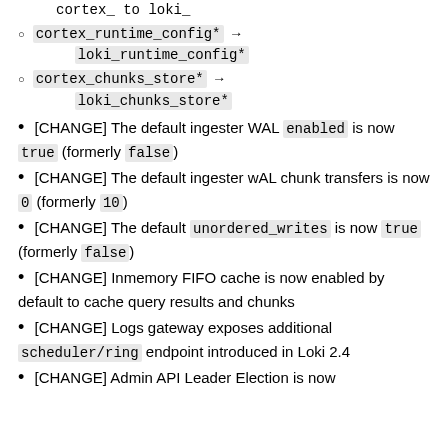cortex_runtime_config* → loki_runtime_config*
cortex_chunks_store* → loki_chunks_store*
[CHANGE] The default ingester WAL enabled is now true (formerly false)
[CHANGE] The default ingester wAL chunk transfers is now 0 (formerly 10)
[CHANGE] The default unordered_writes is now true (formerly false)
[CHANGE] Inmemory FIFO cache is now enabled by default to cache query results and chunks
[CHANGE] Logs gateway exposes additional scheduler/ring endpoint introduced in Loki 2.4
[CHANGE] Admin API Leader Election is now